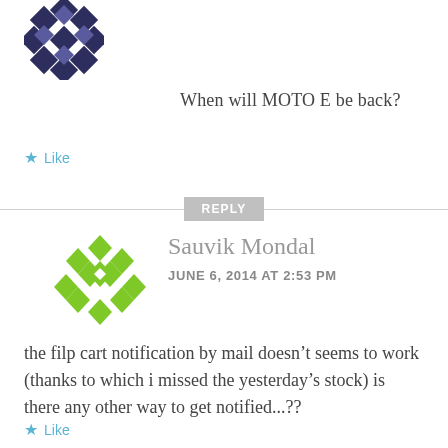[Figure (illustration): Dark diamond/snowflake pattern avatar icon, partially visible at top]
When will MOTO E be back?
★ Like
REPLY
[Figure (illustration): Green diamond/snowflake pattern avatar icon for Sauvik Mondal]
Sauvik Mondal
JUNE 6, 2014 AT 2:53 PM
the filp cart notification by mail doesn't seems to work (thanks to which i missed the yesterday's stock) is there any other way to get notified...??
★ Like